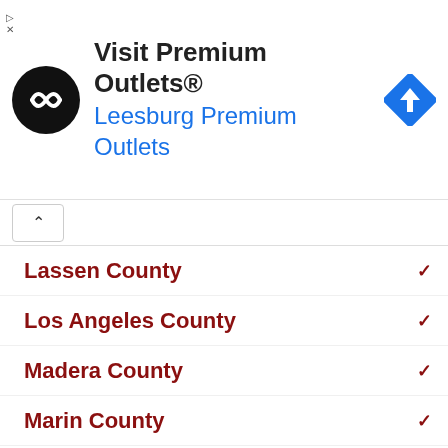[Figure (other): Advertisement banner for Visit Premium Outlets® — Leesburg Premium Outlets, with circular logo and navigation icon]
Lassen County
Los Angeles County
Madera County
Marin County
Mariposa County
Mendocino County
Merced County
Modoc County
Mono County
Monterey County